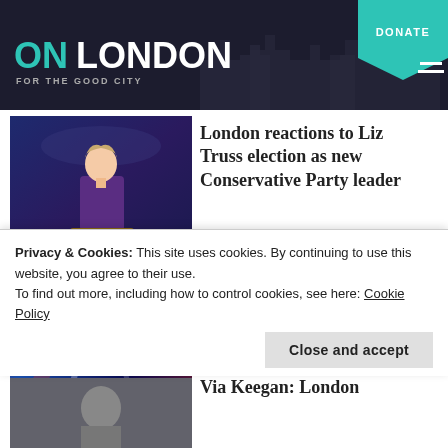ON LONDON — FOR THE GOOD CITY
[Figure (photo): Liz Truss speaking at a podium with Conservatives branding]
London reactions to Liz Truss election as new Conservative Party leader
[Figure (photo): Levelling Up graphic with UK map and bold text]
London has received less 'levelling up' cash
Privacy & Cookies: This site uses cookies. By continuing to use this website, you agree to their use.
To find out more, including how to control cookies, see here: Cookie Policy
Close and accept
[Figure (photo): Partial view of a third article image]
Via Keegan: London